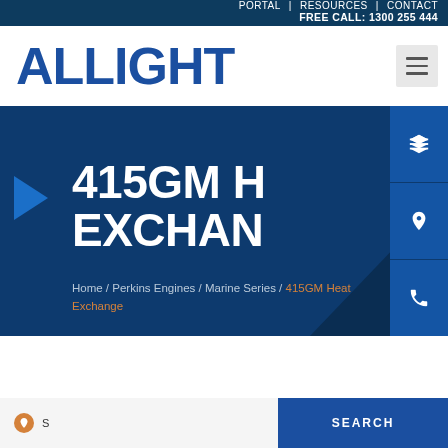PORTAL | RESOURCES | CONTACT
FREE CALL: 1300 255 444
[Figure (logo): ALLIGHT company logo in bold blue text]
415GM HEAT EXCHANGE
Home / Perkins Engines / Marine Series / 415GM Heat Exchange